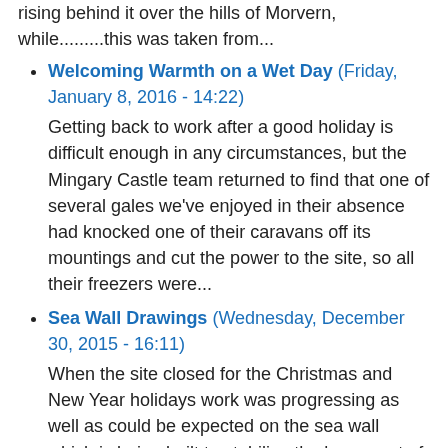rising behind it over the hills of Morvern, while.........this was taken from...
Welcoming Warmth on a Wet Day (Friday, January 8, 2016 - 14:22) Getting back to work after a good holiday is difficult enough in any circumstances, but the Mingary Castle team returned to find that one of several gales we've enjoyed in their absence had knocked one of their caravans off its mountings and cut the power to the site, so all their freezers were...
Sea Wall Drawings (Wednesday, December 30, 2015 - 16:11) When the site closed for the Christmas and New Year holidays work was progressing as well as could be expected on the sea wall which is being built to stabilise the lower part of the cliff face on which the castle stands. The first part of this process was to erect shuttering in stages along with...
Season's Greetings (Thursday, December 24, 2015 -